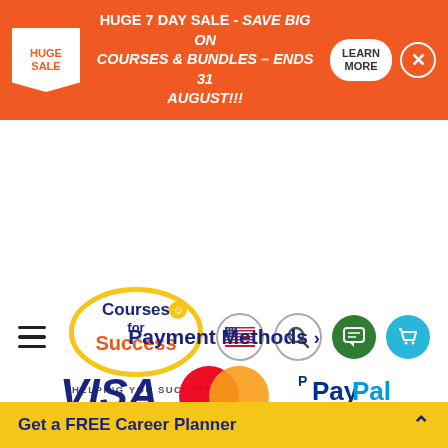[Figure (screenshot): Orange sale banner with HUGE SALE tag, text 'HUGE 7 DAY SALE - SAVE BIG ON COURSES & BUNDLES – ENDS 31 AUGUST!!!', LEARN MORE button and close button]
[Figure (logo): Courses for Success logo with tagline HELPING YOU SUCCEED and navigation icons (flag, search, chat, cart)]
Payment Methods ›
[Figure (infographic): Payment method logos: Visa, MasterCard, PayPal, American Express, Amazon Pay, Sezzle, and a Money Back badge partially visible]
Get a FREE Career Planner